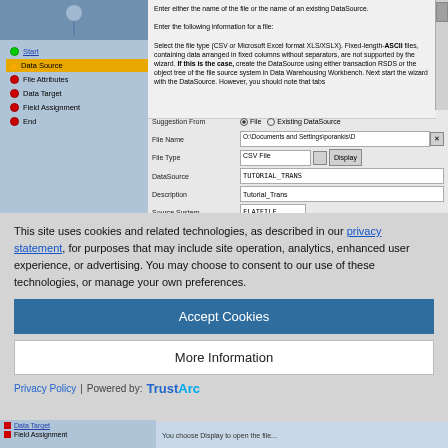[Figure (screenshot): SAP BW DataSource wizard screenshot showing left navigation panel with wizard steps (Start, Data Source highlighted in orange, File Attributes, Data Target, Field Assignment, End) and right panel with information text and form fields for DataSource configuration including Suggestion From (File/Existing DataSource radio buttons), File Name, File Type (CSV File with Display button), DataSource (TUTORIAL_TRANS), Description (Tutorial_Trans), Source System (FLATFILE), DataSource Data Type (Transaction Data)]
This site uses cookies and related technologies, as described in our privacy statement, for purposes that may include site operation, analytics, enhanced user experience, or advertising. You may choose to consent to our use of these technologies, or manage your own preferences.
Accept Cookies
More Information
Privacy Policy | Powered by: TrustArc